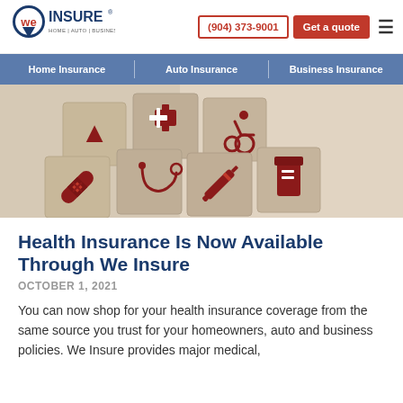[Figure (logo): We Insure logo with text HOME | AUTO | BUSINESS]
(904) 373-9001   Get a quote
Home Insurance | Auto Insurance | Business Insurance
[Figure (photo): Wooden blocks with health and medical icons: blood drop, first aid kit, wheelchair, bandage, stethoscope, syringe, pill bottle]
Health Insurance Is Now Available Through We Insure
OCTOBER 1, 2021
You can now shop for your health insurance coverage from the same source you trust for your homeowners, auto and business policies. We Insure provides major medical,